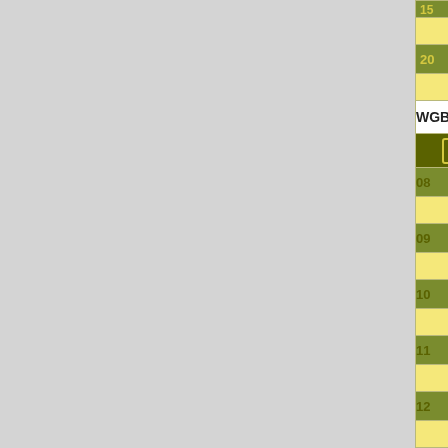WGB_LEICA CM1950 Cryostat_WGB_3.12
|  | Monday 22 | Tuesday 2... |
| --- | --- | --- |
|  |  |  |
| 30 |  |  |
| 20 |  |  |
| 30 |  |  |
| 08 |  |  |
| 30 |  |  |
| 09 |  |  |
| 30 |  |  |
| 10 |  |  |
| 30 |  |  |
| 11 |  |  |
| 30 |  |  |
| 12 |  |  |
| 30 |  |  |
| 13 |  |  |
| 30 |  |  |
| 14 |  | 14:00 |
| 30 |  |  |